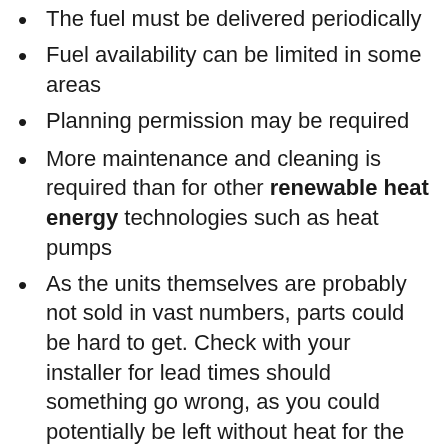The fuel must be delivered periodically (partial, cut off at top)
Fuel availability can be limited in some areas
Planning permission may be required
More maintenance and cleaning is required than for other renewable heat energy technologies such as heat pumps
As the units themselves are probably not sold in vast numbers, parts could be hard to get. Check with your installer for lead times should something go wrong, as you could potentially be left without heat for the time it takes to acquire the part and have it installed.